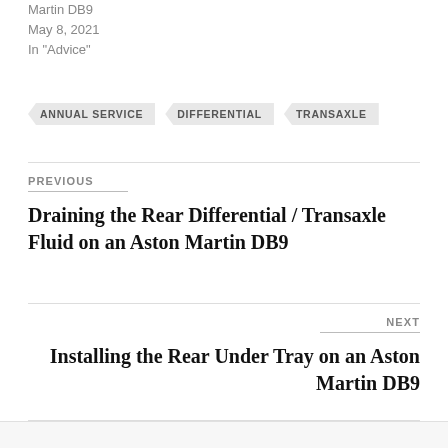Martin DB9
May 8, 2021
In "Advice"
ANNUAL SERVICE   DIFFERENTIAL   TRANSAXLE
PREVIOUS
Draining the Rear Differential / Transaxle Fluid on an Aston Martin DB9
NEXT
Installing the Rear Under Tray on an Aston Martin DB9